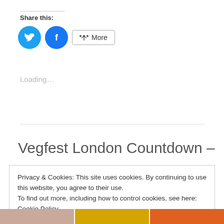Share this:
[Figure (illustration): Twitter and Facebook circular icon buttons, plus a More button with share icon]
Loading...
Vegfest London Countdown –
Privacy & Cookies: This site uses cookies. By continuing to use this website, you agree to their use. To find out more, including how to control cookies, see here: Cookie Policy
Close and accept
[Figure (photo): Partial view of images at the bottom of the page]